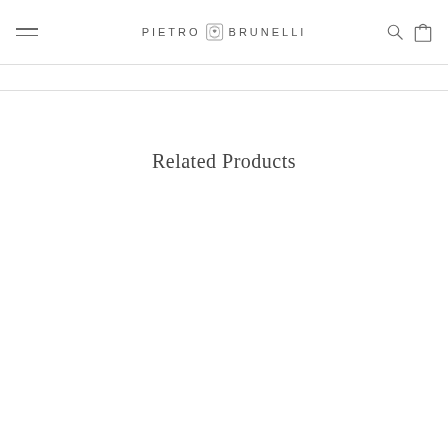PIETRO BRUNELLI
Related Products